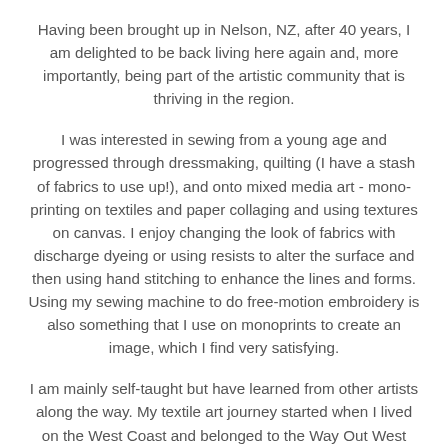Having been brought up in Nelson, NZ, after 40 years, I am delighted to be back living here again and, more importantly, being part of the artistic community that is thriving in the region.
I was interested in sewing from a young age and progressed through dressmaking, quilting (I have a stash of fabrics to use up!), and onto mixed media art - mono-printing on textiles and paper collaging and using textures on canvas. I enjoy changing the look of fabrics with discharge dyeing or using resists to alter the surface and then using hand stitching to enhance the lines and forms. Using my sewing machine to do free-motion embroidery is also something that I use on monoprints to create an image, which I find very satisfying.
I am mainly self-taught but have learned from other artists along the way. My textile art journey started when I lived on the West Coast and belonged to the Way Out West Textile Art Group. We set challenges each month for